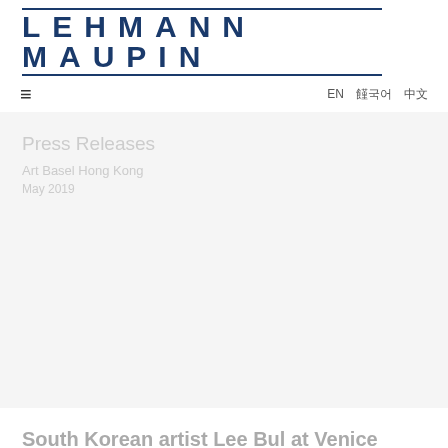LEHMANN MAUPIN
≡   EN 한국어 中文
Press Releases
Art Basel Hong Kong
May 2019
South Korean artist Lee Bul at Venice Biennale: a statement of separation and tragedy
South China Morning Post, by Enid Tsui
May 15, 2019
View More